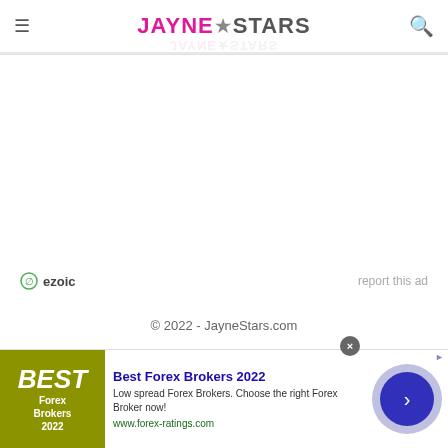JAYNE★STARS
[Figure (logo): JayneStars website logo with pink JAYNE text, star icon, and gray STARS text]
ezoic  report this ad
© 2022 - JayneStars.com
[Figure (infographic): Best Forex Brokers 2022 advertisement banner with olive green image, ad title, description and circular button]